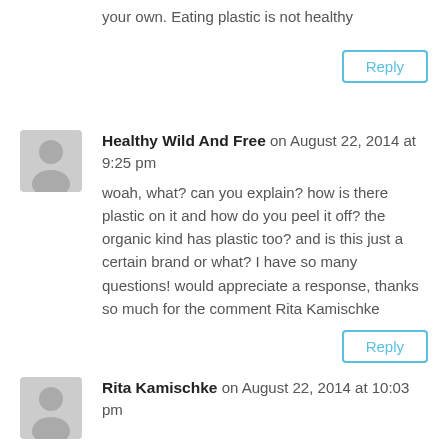your own. Eating plastic is not healthy
Reply
Healthy Wild And Free on August 22, 2014 at 9:25 pm
woah, what? can you explain? how is there plastic on it and how do you peel it off? the organic kind has plastic too? and is this just a certain brand or what? I have so many questions! would appreciate a response, thanks so much for the comment Rita Kamischke
Reply
Rita Kamischke on August 22, 2014 at 10:03 pm